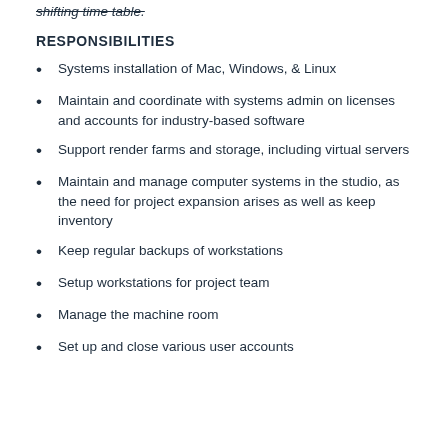shifting time table.
RESPONSIBILITIES
Systems installation of Mac, Windows, & Linux
Maintain and coordinate with systems admin on licenses and accounts for industry-based software
Support render farms and storage, including virtual servers
Maintain and manage computer systems in the studio, as the need for project expansion arises as well as keep inventory
Keep regular backups of workstations
Setup workstations for project team
Manage the machine room
Set up and close various user accounts